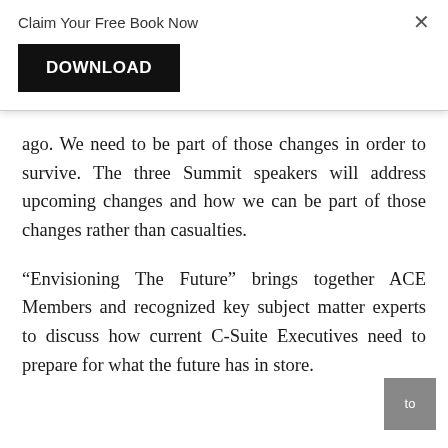Claim Your Free Book Now
[Figure (other): Black DOWNLOAD button]
ago. We need to be part of those changes in order to survive. The three Summit speakers will address upcoming changes and how we can be part of those changes rather than casualties.
“Envisioning The Future” brings together ACE Members and recognized key subject matter experts to discuss how current C-Suite Executives need to prepare for what the future has in store. The...